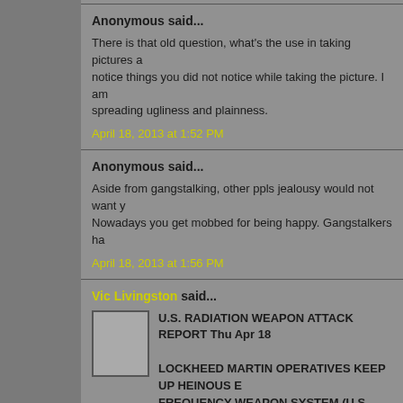Anonymous said...
There is that old question, what's the use in taking pictures a... notice things you did not notice while taking the picture. I am spreading ugliness and plainness.
April 18, 2013 at 1:52 PM
Anonymous said...
Aside from gangstalking, other ppls jealousy would not want y... Nowadays you get mobbed for being happy. Gangstalkers ha...
April 18, 2013 at 1:56 PM
Vic Livingston said...
U.S. RADIATION WEAPON ATTACK REPORT Thu Apr 18
LOCKHEED MARTIN OPERATIVES KEEP UP HEINOUS E... FREQUENCY WEAPON SYSTEM (U.S. Patent 7629918, Ra...
Thu Apr 18 @ 12noon-12:20pm Another forced sleep neu... weakness, forced sleep. Awoke to extreme ear ringing, o... Just before the dinner hour, I was force-sleeped, awoke t...